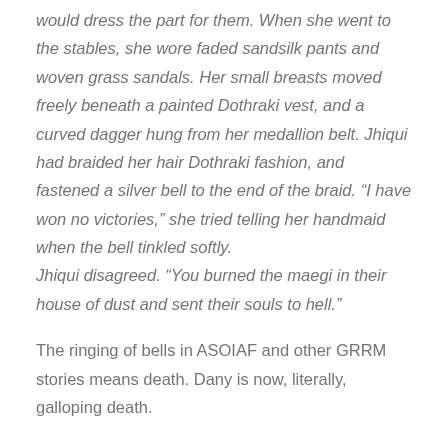would dress the part for them. When she went to the stables, she wore faded sandsilk pants and woven grass sandals. Her small breasts moved freely beneath a painted Dothraki vest, and a curved dagger hung from her medallion belt. Jhiqui had braided her hair Dothraki fashion, and fastened a silver bell to the end of the braid. “I have won no victories,” she tried telling her handmaid when the bell tinkled softly.
Jhiqui disagreed. “You burned the maegi in their house of dust and sent their souls to hell.”
The ringing of bells in ASOIAF and other GRRM stories means death. Dany is now, literally, galloping death.